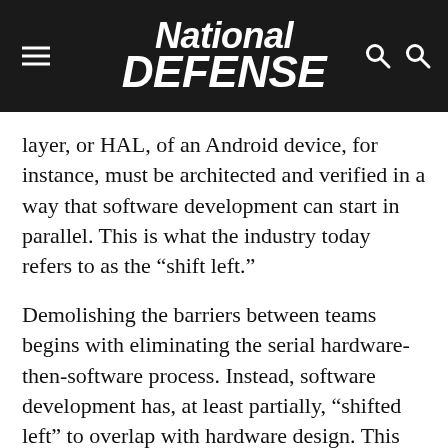National Defense
layer, or HAL, of an Android device, for instance, must be architected and verified in a way that software development can start in parallel. This is what the industry today refers to as the “shift left.”
Demolishing the barriers between teams begins with eliminating the serial hardware-then-software process. Instead, software development has, at least partially, “shifted left” to overlap with hardware design. This change often makes the software team a little uneasy at first, as working on a “squishy” hardware platform is new ground.